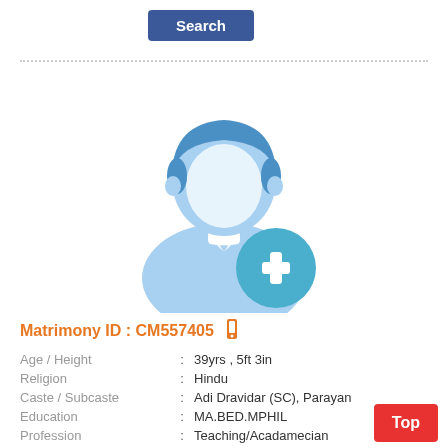[Figure (screenshot): Search button — dark blue rectangular button with white 'Search' text]
[Figure (illustration): Generic male profile avatar icon in light blue with a teal/blue circular plus (+) badge overlay]
Matrimony ID : CM557405
| Age / Height | : | 39yrs , 5ft 3in |
| Religion | : | Hindu |
| Caste / Subcaste | : | Adi Dravidar (SC), Parayan |
| Education | : | MA.BED.MPHIL |
| Profession | : | Teaching/Acadamecian |
| Gender | : | Male / Groom |